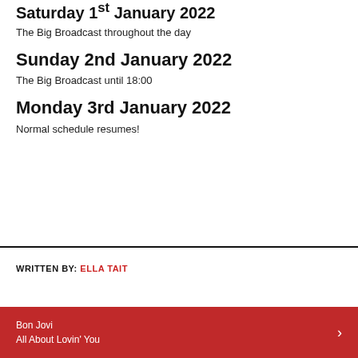Saturday 1st January 2022
The Big Broadcast throughout the day
Sunday 2nd January 2022
The Big Broadcast until 18:00
Monday 3rd January 2022
Normal schedule resumes!
WRITTEN BY: ELLA TAIT
Bon Jovi
All About Lovin' You